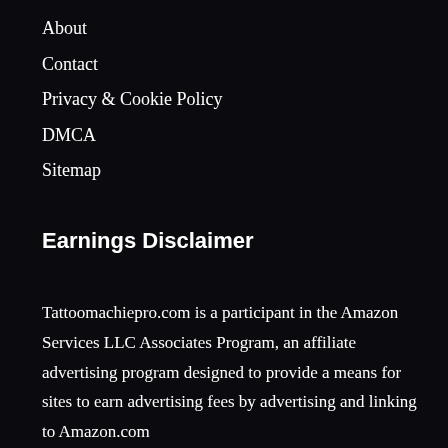About
Contact
Privacy & Cookie Policy
DMCA
Sitemap
Earnings Disclaimer
Tattoomachiepro.com is a participant in the Amazon Services LLC Associates Program, an affiliate advertising program designed to provide a means for sites to earn advertising fees by advertising and linking to Amazon.com